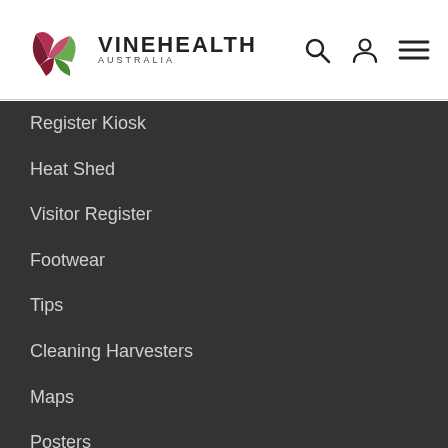VINEHEALTH AUSTRALIA
Register Kiosk
Heat Shed
Visitor Register
Footwear
Tips
Cleaning Harvesters
Maps
Posters
Fact Sheets
Biosecurity Bulletins
Signage